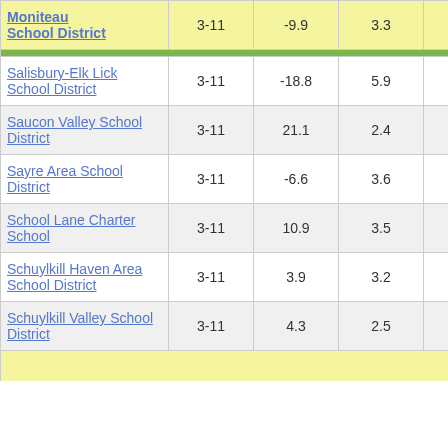| District | Grades | Col3 | Col4 | Score |
| --- | --- | --- | --- | --- |
| Moniteau School District | 3-11 | -9.9 | 3.3 | -3.01 |
| Salisbury-Elk Lick School District | 3-11 | -18.8 | 5.9 | -3.18 |
| Saucon Valley School District | 3-11 | 21.1 | 2.4 | 8.60 |
| Sayre Area School District | 3-11 | -6.6 | 3.6 | -1.82 |
| School Lane Charter School | 3-11 | 10.9 | 3.5 | 3.09 |
| Schuylkill Haven Area School District | 3-11 | 3.9 | 3.2 | 1.23 |
| Schuylkill Valley School District | 3-11 | 4.3 | 2.5 | 1.73 |